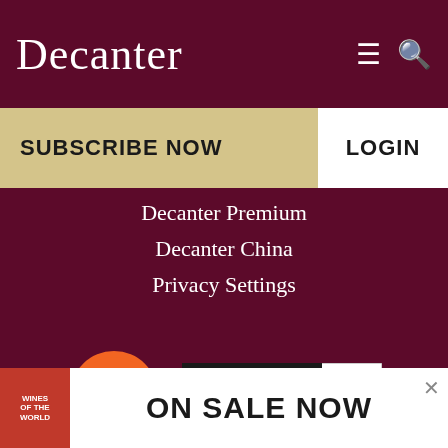Decanter
SUBSCRIBE NOW
LOGIN
Decanter Premium
Decanter China
Privacy Settings
[Figure (logo): IAB UK certified member badge - orange circular logo with 'iab uk' text and gold ribbon]
[Figure (logo): DTSG JIC WEBS UK Brand Safety badge with ABC validation, valid to September 2019]
ON SALE NOW